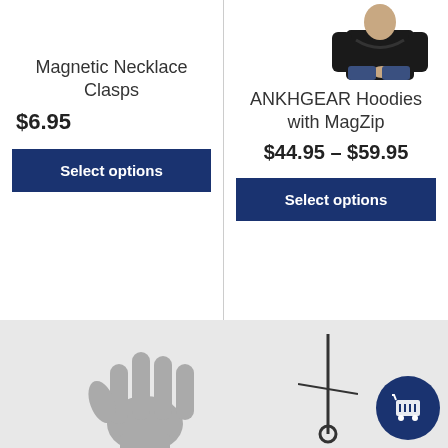[Figure (photo): Top portion of a person wearing a dark hoodie, visible from waist up, with hands clasped]
Magnetic Necklace Clasps
$6.95
Select options
ANKHGEAR Hoodies with MagZip
$44.95 – $59.95
Select options
[Figure (photo): Gray prosthetic hand grip tool in lower left area]
[Figure (photo): Black leash or cord in lower right area]
[Figure (illustration): Dark navy shopping cart icon button in bottom right]
The Active Hands Company uses cookies and analytics to create a better user experience. Are you OK with this?
Accept
info...